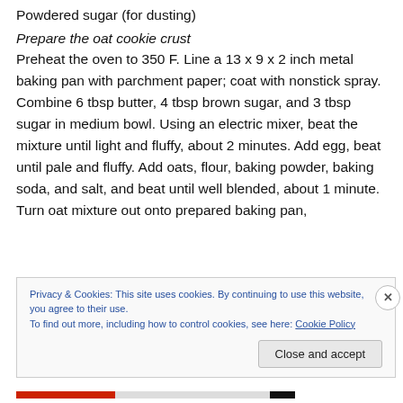Powdered sugar (for dusting)
Prepare the oat cookie crust
Preheat the oven to 350 F. Line a 13 x 9 x 2 inch metal baking pan with parchment paper; coat with nonstick spray. Combine 6 tbsp butter, 4 tbsp brown sugar, and 3 tbsp sugar in medium bowl. Using an electric mixer, beat the mixture until light and fluffy, about 2 minutes. Add egg, beat until pale and fluffy. Add oats, flour, baking powder, baking soda, and salt, and beat until well blended, about 1 minute. Turn oat mixture out onto prepared baking pan,
Privacy & Cookies: This site uses cookies. By continuing to use this website, you agree to their use.
To find out more, including how to control cookies, see here: Cookie Policy